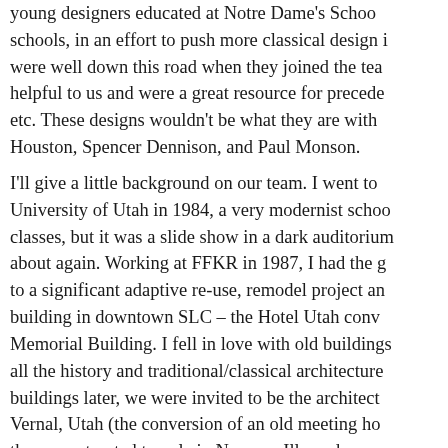young designers educated at Notre Dame's School schools, in an effort to push more classical design i were well down this road when they joined the tea helpful to us and were a great resource for precede etc. These designs wouldn't be what they are with Houston, Spencer Dennison, and Paul Monson.
I'll give a little background on our team. I went to University of Utah in 1984, a very modernist schoo classes, but it was a slide show in a dark auditorium about again. Working at FFKR in 1987, I had the g to a significant adaptive re-use, remodel project an building in downtown SLC – the Hotel Utah conv Memorial Building. I fell in love with old buildings all the history and traditional/classical architecture buildings later, we were invited to be the architect Vernal, Utah (the conversion of an old meeting ho the reconstructed temple in Nauvoo, Ill., and seve Nauvoo temple received the Palladio award (2003)